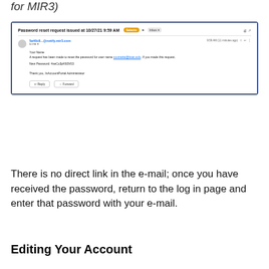for MIR3)
[Figure (screenshot): Screenshot of a Gmail email showing a password reset notification from 5a40c8...@notify.mir3.com with subject 'Password reset request issued at 10/27/21 9:59 AM'. The email body reads: 'Your Name, A request has been made to reset the password for user name coumetta@ksac.edu. If you made this request. New Password: 4seCu3pK93V03. Thank you, InAccountPortal Administrator'. Reply and Forward buttons shown.]
There is no direct link in the e-mail; once you have received the password, return to the log in page and enter that password with your e-mail.
Editing Your Account